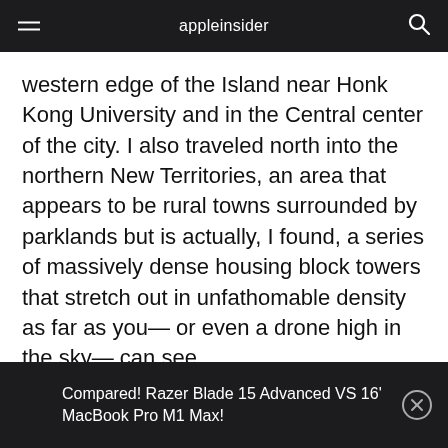appleinsider
western edge of the Island near Honk Kong University and in the Central center of the city. I also traveled north into the northern New Territories, an area that appears to be rural towns surrounded by parklands but is actually, I found, a series of massively dense housing block towers that stretch out in unfathomable density as far as you— or even a drone high in the sky— can see.
Compared! Razer Blade 15 Advanced VS 16' MacBook Pro M1 Max!